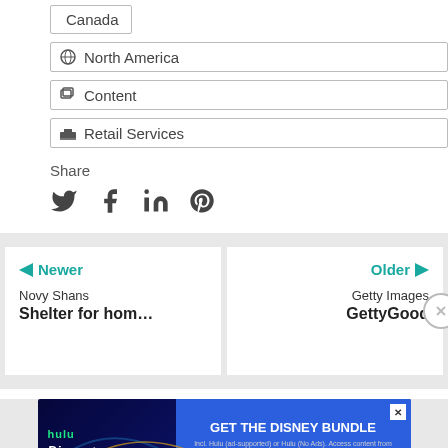Canada
North America
Content
Retail Services
Share
[Figure (infographic): Social sharing icons: Twitter, Facebook, LinkedIn, Pinterest]
[Figure (infographic): Navigation cards: Newer - Novy Shans Shelter for hom..., Older - Getty Images GettyGood]
[Figure (infographic): Disney Bundle advertisement banner with Hulu, Disney+, ESPN+ logos and GET THE DISNEY BUNDLE text]